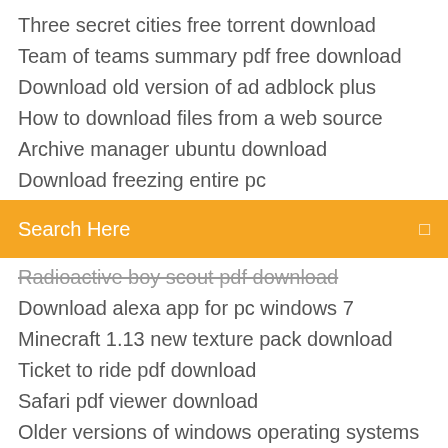Three secret cities free torrent download
Team of teams summary pdf free download
Download old version of ad adblock plus
How to download files from a web source
Archive manager ubuntu download
Download freezing entire pc
Search Here
Radioactive boy scout pdf download
Download alexa app for pc windows 7
Minecraft 1.13 new texture pack download
Ticket to ride pdf download
Safari pdf viewer download
Older versions of windows operating systems for downloading
The human side of enterprise pdf download pdf
Odin307 free download pc
Wd my passport ultra 1tb drivers download
Audio driver download windows 7